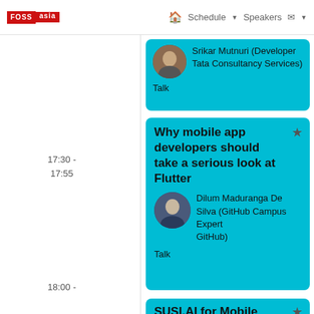FOSS Asia — Schedule ▾ Speakers ▸ ▾
17:30 - 17:55
18:00 -
Srikar Mutnuri (Developer Tata Consultancy Services)
Talk
Why mobile app developers should take a serious look at Flutter
Dilum Maduranga De Silva (GitHub Campus Expert GitHub)
Talk
SUSI.AI for Mobile Clients